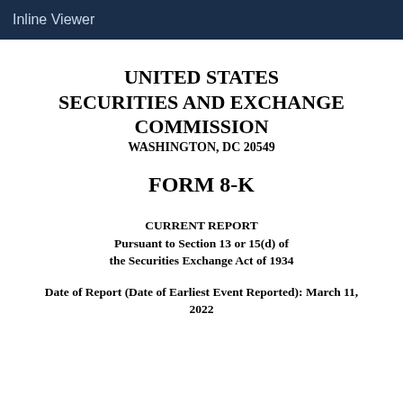Inline Viewer
UNITED STATES SECURITIES AND EXCHANGE COMMISSION
WASHINGTON, DC 20549
FORM 8-K
CURRENT REPORT
Pursuant to Section 13 or 15(d) of
the Securities Exchange Act of 1934
Date of Report (Date of Earliest Event Reported): March 11, 2022